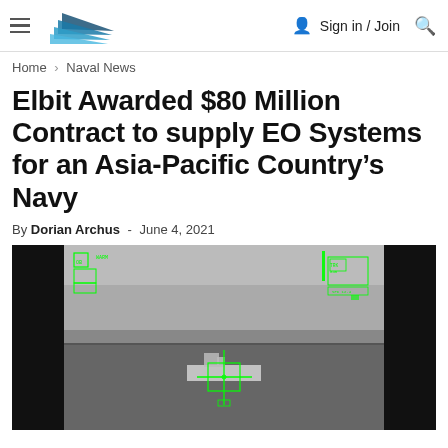Naval News
Home › Naval News
Elbit Awarded $80 Million Contract to supply EO Systems for an Asia-Pacific Country's Navy
By Dorian Archus - June 4, 2021
[Figure (photo): Infrared/thermal targeting camera view of a naval vessel (ship) at sea, with green HUD overlay graphics including targeting reticles, data readouts, and tracking indicators on a black and grey background.]